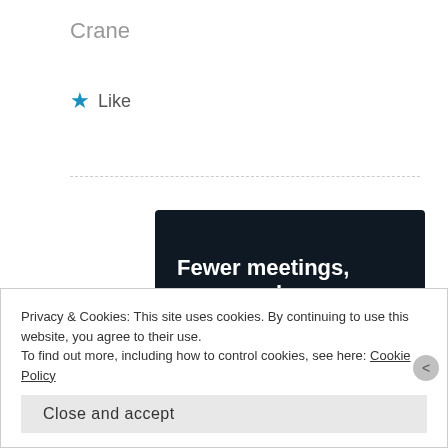Crane
★ Like
[Figure (screenshot): Dark advertisement banner with white bold text reading 'Fewer meetings, more work.' and a button 'Get started for free']
Privacy & Cookies: This site uses cookies. By continuing to use this website, you agree to their use.
To find out more, including how to control cookies, see here: Cookie Policy
Close and accept